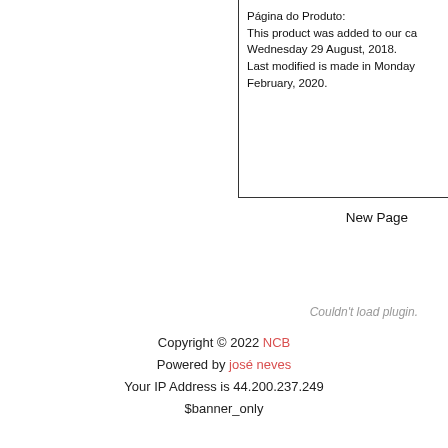Página do Produto:
This product was added to our ca Wednesday 29 August, 2018.
Last modified is made in Monday February, 2020.
New Page
Couldn't load plugin.
Copyright © 2022 NCB
Powered by josé neves
Your IP Address is 44.200.237.249
$banner_only